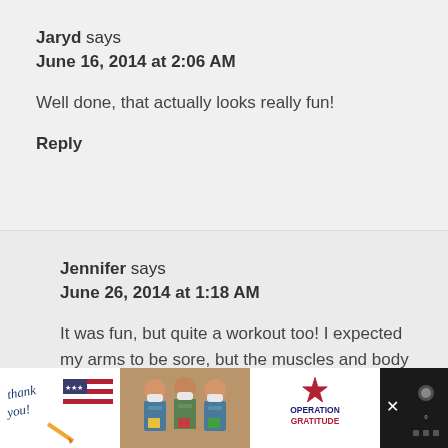Jaryd says
June 16, 2014 at 2:06 AM
Well done, that actually looks really fun!
Reply
Jennifer says
June 26, 2014 at 1:18 AM
It was fun, but quite a workout too! I expected my arms to be sore, but the muscles and body parts that hurt after
[Figure (infographic): Advertisement banner at bottom: Thank you handwritten text with American flag imagery, photo of three masked healthcare workers, Operation Gratitude logo, close button X, weather widget]